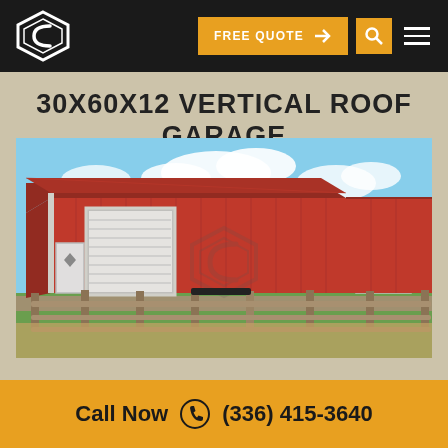FREE QUOTE
30X60X12 VERTICAL ROOF GARAGE
[Figure (photo): Large red metal vertical roof garage building with white roll-up doors and a walk-in door, surrounded by a wooden fence, green hills in background.]
Call Now (336) 415-3640